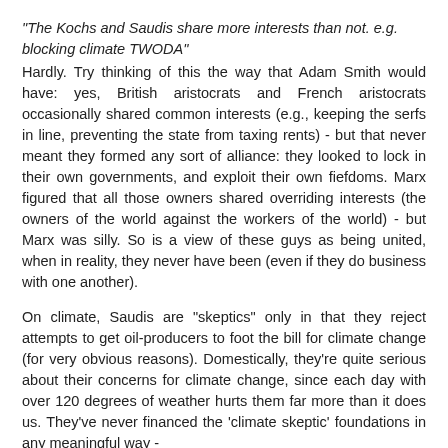"The Kochs and Saudis share more interests than not. e.g. blocking climate TWODA"
Hardly. Try thinking of this the way that Adam Smith would have: yes, British aristocrats and French aristocrats occasionally shared common interests (e.g., keeping the serfs in line, preventing the state from taxing rents) - but that never meant they formed any sort of alliance: they looked to lock in their own governments, and exploit their own fiefdoms. Marx figured that all those owners shared overriding interests (the owners of the world against the workers of the world) - but Marx was silly. So is a view of these guys as being united, when in reality, they never have been (even if they do business with one another).
On climate, Saudis are "skeptics" only in that they reject attempts to get oil-producers to foot the bill for climate change (for very obvious reasons). Domestically, they're quite serious about their concerns for climate change, since each day with over 120 degrees of weather hurts them far more than it does us. They've never financed the 'climate skeptic' foundations in any meaningful way -